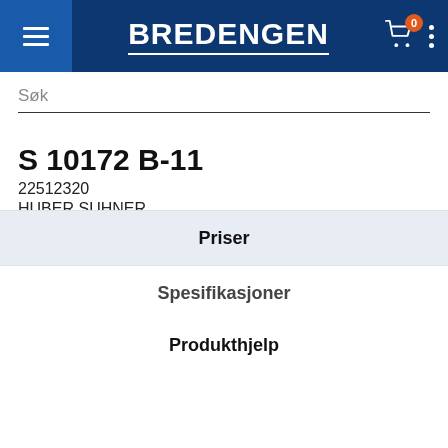BREDENGEN
Søk
S 10172 B-11
22512320
HUBER SUHNER
Lagerbeholdning:
Priser
Spesifikasjoner
Produkthjelp